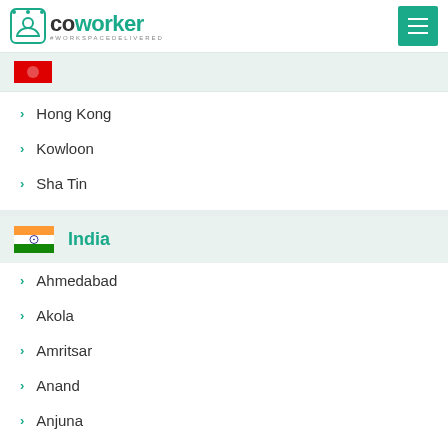coworker #WORKSPACEDELIVERED
Hong Kong
Kowloon
Sha Tin
Tsuen Wan
India
Ahmedabad
Akola
Amritsar
Anand
Anjuna
Ankleshwar